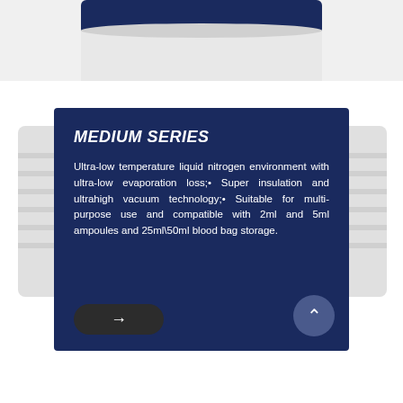[Figure (photo): Top portion of a white cylindrical liquid nitrogen storage container, shown from above with a dark navy label/cap area visible, on white background]
[Figure (photo): Left and right sides of white cylindrical liquid nitrogen storage containers visible behind a dark navy information card]
MEDIUM SERIES
Ultra-low temperature liquid nitrogen environment with ultra-low evaporation loss;• Super insulation and ultrahigh vacuum technology;• Suitable for multi-purpose use and compatible with 2ml and 5ml ampoules and 25ml\50ml blood bag storage.